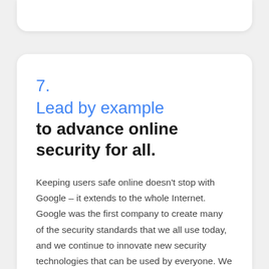7. Lead by example to advance online security for all.
Keeping users safe online doesn't stop with Google – it extends to the whole Internet. Google was the first company to create many of the security standards that we all use today, and we continue to innovate new security technologies that can be used by everyone. We